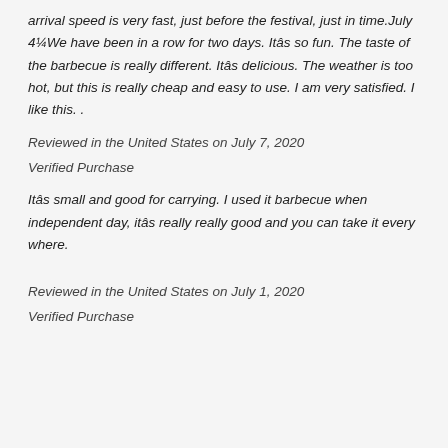arrival speed is very fast, just before the festival, just in time.July 4¼We have been in a row for two days. Itâs so fun. The taste of the barbecue is really different. Itâs delicious. The weather is too hot, but this is really cheap and easy to use. I am very satisfied. I like this. .
Reviewed in the United States on July 7, 2020
Verified Purchase
Itâs small and good for carrying. I used it barbecue when independent day, itâs really really good and you can take it every where.
Reviewed in the United States on July 1, 2020
Verified Purchase